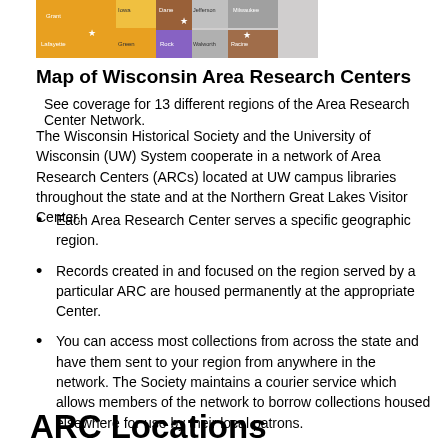[Figure (map): Partial map of Wisconsin counties showing Area Research Center regions, with colored county groupings and star markers indicating ARC locations. Counties visible include Grant, Iowa, Dane, Jefferson, Milwaukee, Lafayette, Green, Rock, Racine, Walworth.]
Map of Wisconsin Area Research Centers
See coverage for 13 different regions of the Area Research Center Network.
The Wisconsin Historical Society and the University of Wisconsin (UW) System cooperate in a network of Area Research Centers (ARCs) located at UW campus libraries throughout the state and at the Northern Great Lakes Visitor Center.
Each Area Research Center serves a specific geographic region.
Records created in and focused on the region served by a particular ARC are housed permanently at the appropriate Center.
You can access most collections from across the state and have them sent to your region from anywhere in the network. The Society maintains a courier service which allows members of the network to borrow collections housed elsewhere for use by their local patrons.
ARC Locations